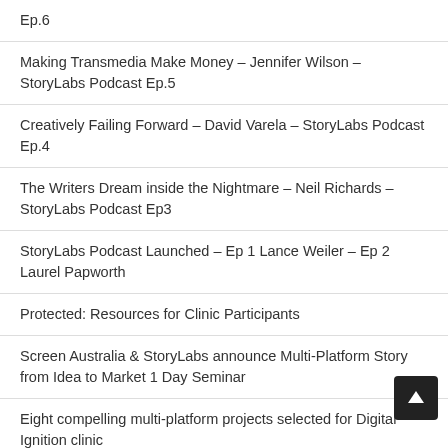Ep.6
Making Transmedia Make Money – Jennifer Wilson – StoryLabs Podcast Ep.5
Creatively Failing Forward – David Varela – StoryLabs Podcast Ep.4
The Writers Dream inside the Nightmare – Neil Richards – StoryLabs Podcast Ep3
StoryLabs Podcast Launched – Ep 1 Lance Weiler – Ep 2 Laurel Papworth
Protected: Resources for Clinic Participants
Screen Australia & StoryLabs announce Multi-Platform Story from Idea to Market 1 Day Seminar
Eight compelling multi-platform projects selected for Digital Ignition clinic